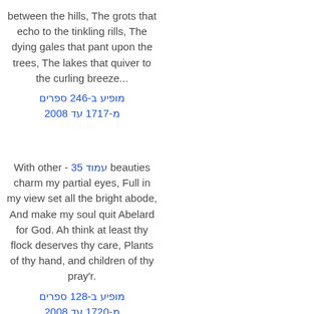between the hills, The grots that echo to the tinkling rills, The dying gales that pant upon the trees, The lakes that quiver to the curling breeze...
מופיע ב-246 ספרים
מ-1717 עד 2008
With other - עמוד 35 beauties charm my partial eyes, Full in my view set all the bright abode, And make my soul quit Abelard for God. Ah think at least thy flock deserves thy care, Plants of thy hand, and children of thy pray'r.
מופיע ב-128 ספרים
מ-1720 עד 2008